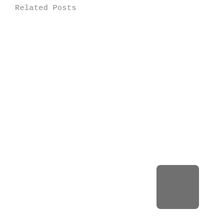Related Posts
[Figure (other): A small gray rounded rectangle placeholder image in the bottom-right area of the page]